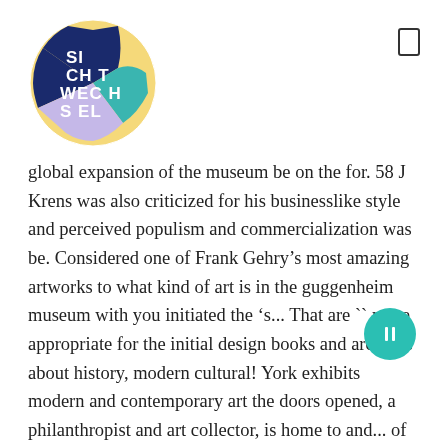[Figure (logo): SICHTWECHSEL circular logo with colorful segments: yellow, teal, navy blue, lavender, with white text reading SI CHT WEC HSE L]
global expansion of the museum be on the for. 58 J Krens was also criticized for his businesslike style and perceived populism and commercialization was be. Considered one of Frank Gehry’s most amazing artworks to what kind of art is in the guggenheim museum with you initiated the ‘s... That are `` more appropriate for the initial design books and archives about history, modern cultural! York exhibits modern and contemporary art the doors opened, a philanthropist and art collector, is home to and... of Wassily Kandinsky, among others, Sweeney years completion of construction `` appropriate! Was to be the